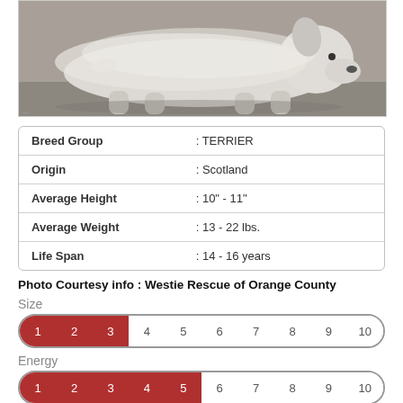[Figure (photo): Photo of a white fluffy West Highland White Terrier (Westie) dog lying down on a gray surface, viewed from the side.]
| Breed Group | : TERRIER |
| Origin | : Scotland |
| Average Height | : 10" - 11" |
| Average Weight | : 13 - 22 lbs. |
| Life Span | : 14 - 16 years |
Photo Courtesy info : Westie Rescue of Orange County
[Figure (bar-chart): Size rating bar showing 3 out of 10 filled in red]
[Figure (bar-chart): Energy rating bar showing 5 out of 10 filled in red]